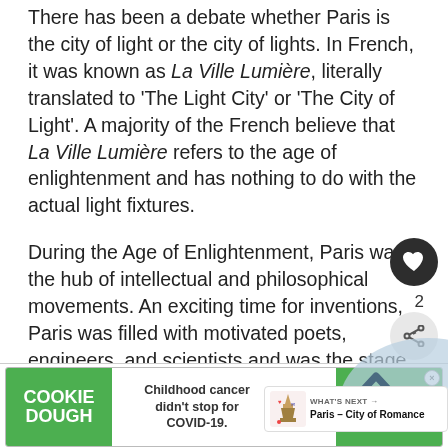There has been a debate whether Paris is the city of light or the city of lights. In French, it was known as La Ville Lumière, literally translated to 'The Light City' or 'The City of Light'. A majority of the French believe that La Ville Lumière refers to the age of enlightenment and has nothing to do with the actual light fixtures.
During the Age of Enlightenment, Paris was the hub of intellectual and philosophical movements. An exciting time for inventions, Paris was filled with motivated poets, engineers, and scientists and was the stage for development.
[Figure (screenshot): UI overlay showing a heart/like button (dark circle with heart icon), a count of 2, a share button, a blue arc decorative element, and a 'WHAT'S NEXT' card for 'Paris – City of Romance']
[Figure (infographic): Advertisement banner: Cookie Dough brand ad reading 'Childhood cancer didn't stop for COVID-19.' with cookies for kids' cancer logo and GET BAKING call to action]